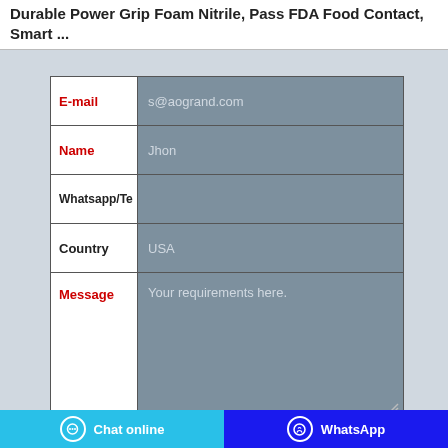Durable Power Grip Foam Nitrile, Pass FDA Food Contact, Smart …
[Figure (screenshot): A web contact form with fields: E-mail (s@aogrand.com), Name (Jhon), Whatsapp/Te, Country (USA), Message (Your requirements here.), and a Submit button.]
Chat online   WhatsApp